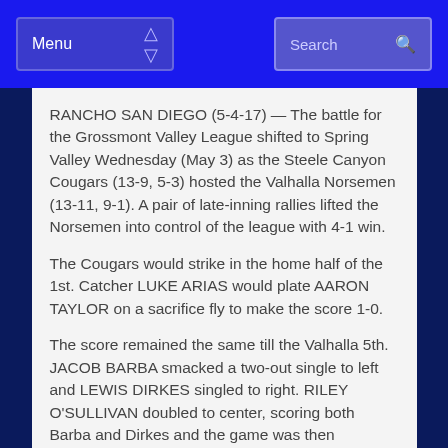Menu | Search
RANCHO SAN DIEGO (5-4-17) — The battle for the Grossmont Valley League shifted to Spring Valley Wednesday (May 3) as the Steele Canyon Cougars (13-9, 5-3) hosted the Valhalla Norsemen (13-11, 9-1). A pair of late-inning rallies lifted the Norsemen into control of the league with 4-1 win.
The Cougars would strike in the home half of the 1st. Catcher LUKE ARIAS would plate AARON TAYLOR on a sacrifice fly to make the score 1-0.
The score remained the same till the Valhalla 5th. JACOB BARBA smacked a two-out single to left and LEWIS DIRKES singled to right. RILEY O'SULLIVAN doubled to center, scoring both Barba and Dirkes and the game was then